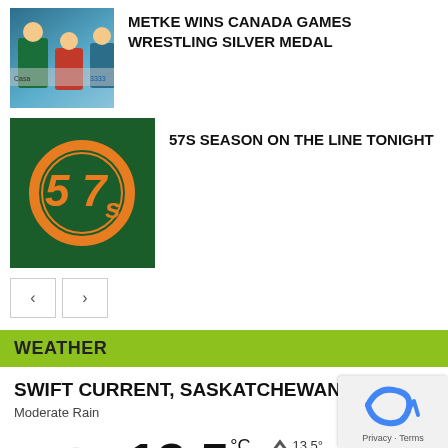[Figure (photo): Sports photo showing wrestling/Canada Games event with people in teal and red outfits, sponsor banners visible]
METKE WINS CANADA GAMES WRESTLING SILVER MEDAL
[Figure (photo): 57s baseball team logo on dark green background - orange circular logo with 57s text]
57S SEASON ON THE LINE TONIGHT
WEATHER
SWIFT CURRENT, SASKATCHEWAN
Moderate Rain
13.5 °C
13.5° high
13.5° low